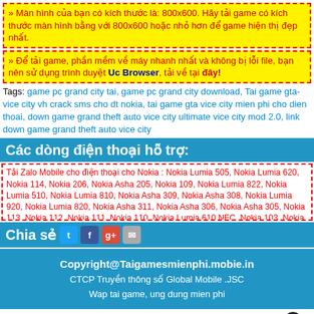» Màn hình của bạn có kích thước là: 800x600. Hãy tải game có kích thước màn hình bằng với 800x600 hoặc nhỏ hơn để game hiện thị đẹp nhất.
» Để tải game, phần mềm về máy nhanh nhất và không bị lỗi file, bạn nên sử dụng trình duyệt Uc Browser, tải về tại đây!
Tags: game pc grand city tai, game pc grand city download, Tai game gta-vice city vh crack sms cho dt nokia, tai game gta vice city mien phi cho dien thoai, down game grand theft auto vice city ultimate vice city mod 2.0, link down game grand theft auto vice city
Các dòng điện thoại hỗ trợ:
Tải Zalo Mobile cho điện thoại cho Nokia : Nokia Lumia 505, Nokia Lumia 620, Nokia 114, Nokia 206, Nokia Asha 205, Nokia 109, Nokia Lumia 822, Nokia Lumia 510, Nokia Lumia 810, Nokia Asha 309, Nokia Asha 308, Nokia Lumia 920, Nokia Lumia 820, Nokia Asha 311, Nokia Asha 306, Nokia Asha 305, Nokia 113, Nokia 112, Nokia 111, Nokia 110, Nokia Lumia 610 NFC, Nokia 103, Nokia 808 PureView, Nokia 900c, Nokia Lumia 610, Nokia Asha 302, Nokia Asha 203, Nokia Asha 202...
Chia sẻ
Copyright@Taigamesmienphi.mobie.in
CTCP Truyền thông số Global Mobile .JSC
Wap tai game, ung dung mien phi
[Figure (other): Advertisement block with Polaroid camera image and text link]